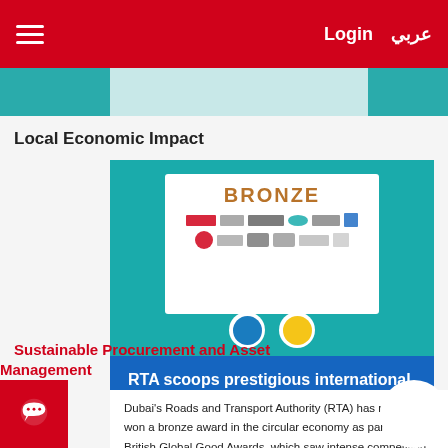Login  عربي
Local Economic Impact
[Figure (photo): Award certificate image showing BRONZE award with sponsor logos on teal background]
RTA scoops prestigious international award in circular economy
Dubai's Roads and Transport Authority (RTA) has recently won a bronze award in the circular economy as part of the British Global Good Awards, which saw intense competition from top